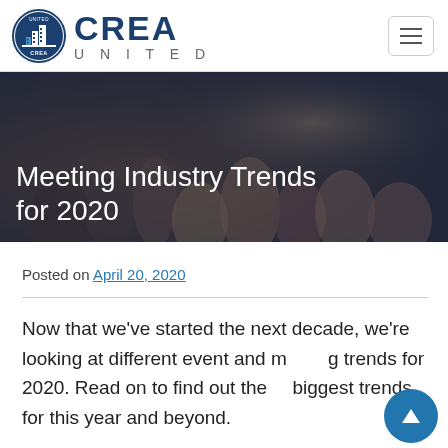CREA UNITED
[Figure (screenshot): Hero banner photo of event/meeting attendees in a darkened conference room, overlaid with the article title 'Meeting Industry Trends for 2020' in white text.]
Meeting Industry Trends for 2020
Posted on April 20, 2020
Now that we've started the next decade, we're looking at different event and meeting trends for 2020. Read on to find out the biggest trends for this year and beyond.